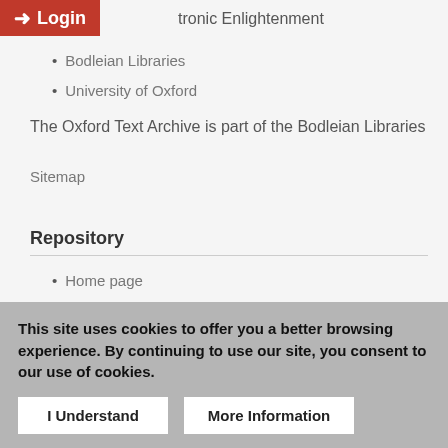[Figure (screenshot): Red login button with arrow icon in top left corner]
tronic Enlightenment
Bodleian Libraries
University of Oxford
The Oxford Text Archive is part of the Bodleian Libraries
Sitemap
Repository
Home page
About OTA
FAQ
Contact (email)
Privacy policy
CLARIN Community Connections
This site uses cookies to offer you a better browsing experience. By continuing to use our site, you consent to our use of cookies.